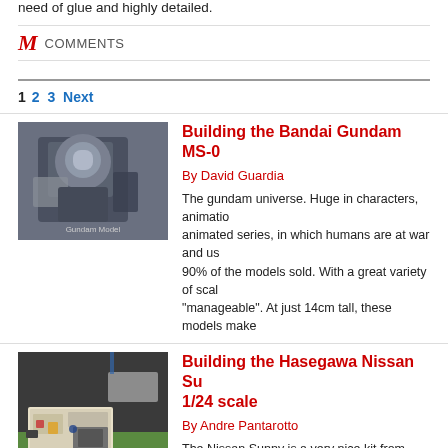need of glue and highly detailed.
M COMMENTS
1 2 3 Next
Building the Bandai Gundam MS-0
By David Guardia
[Figure (photo): Close-up photo of a Gundam MS robot model figure, grey and blue armored mech with detailed accessories]
The gundam universe. Huge in characters, animation animated series, in which humans are at war and us 90% of the models sold. With a great variety of scal "manageable". At just 14cm tall, these models make
Building the Hasegawa Nissan Su 1/24 scale
By Andre Pantarotto
[Figure (photo): Photo of a detailed Hasegawa Nissan Sunny truck model at 1/24 scale with miniature accessories in the truck bed, set on a green base]
The Nissan Sunny is a very nice kit from Hasegawa truck I felt it needed something more. To place in a v beautiful model.
Editor note: with the PDF tutorial, DOC files are pro